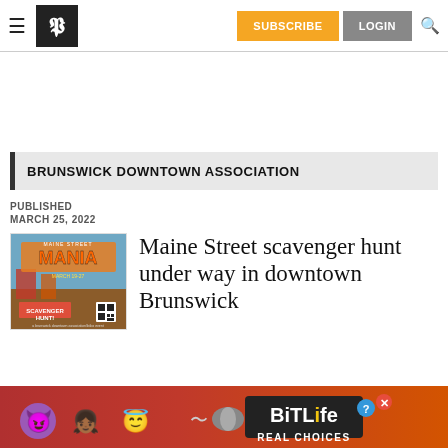SUBSCRIBE  LOGIN
BRUNSWICK DOWNTOWN ASSOCIATION
PUBLISHED
MARCH 25, 2022
[Figure (photo): Maine Street Mania event poster with scavenger hunt promotional image, March 19-27]
Maine Street scavenger hunt under way in downtown Brunswick
[Figure (illustration): BitLife Real Choices advertisement banner with cartoon emoji characters]